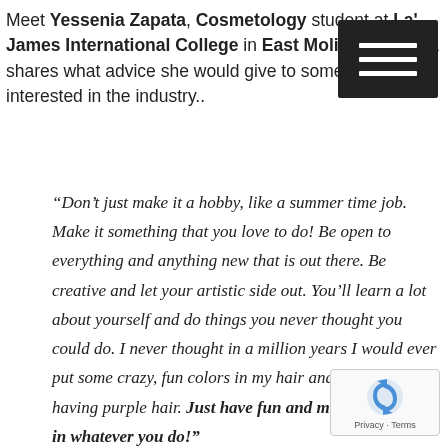Meet Yessenia Zapata, Cosmetology student at La' James International College in East Moline. Yessenia shares what advice she would give to someone interested in the industry..
“Don’t just make it a hobby, like a summer time job. Make it something that you love to do! Be open to everything and anything new that is out there. Be creative and let your artistic side out. You’ll learn a lot about yourself and do things you never thought you could do. I never thought in a million years I would ever put some crazy, fun colors in my hair and here I am having purple hair. Just have fun and make it your own in whatever you do!”